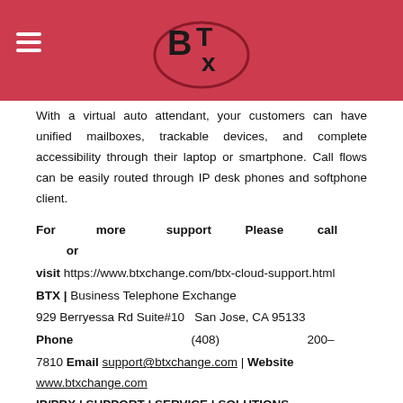[Figure (logo): BTX logo with oval shape and hamburger menu icon on red/pink header bar]
With a virtual auto attendant, your customers can have unified mailboxes, trackable devices, and complete accessibility through their laptop or smartphone. Call flows can be easily routed through IP desk phones and softphone client.
For more support Please call or visit https://www.btxchange.com/btx-cloud-support.html
BTX | Business Telephone Exchange
929 Berryessa Rd Suite#10  San Jose, CA 95133
Phone (408) 200-7810 Email support@btxchange.com | Website www.btxchange.com
IP/PBX | SUPPORT | SERVICE | SOLUTIONS